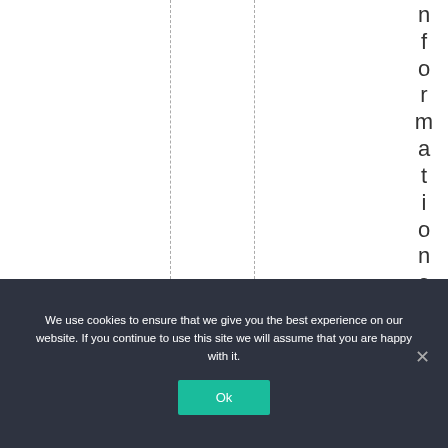nformationontherEl
We use cookies to ensure that we give you the best experience on our website. If you continue to use this site we will assume that you are happy with it.
Ok